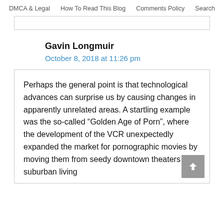DMCA & Legal  How To Read This Blog  Comments Policy  Search
Gavin Longmuir
October 8, 2018 at 11:26 pm
Perhaps the general point is that technological advances can surprise us by causing changes in apparently unrelated areas. A startling example was the so-called “Golden Age of Porn”, where the development of the VCR unexpectedly expanded the market for pornographic movies by moving them from seedy downtown theaters to suburban living